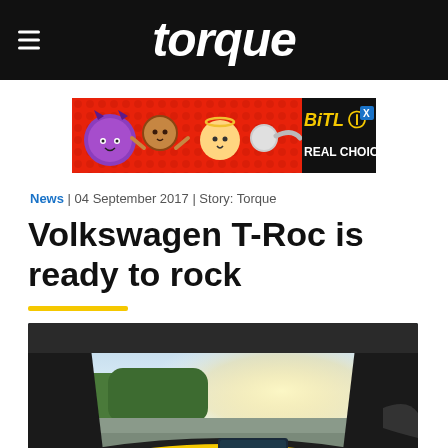torque
[Figure (other): BitLife Real Choices advertisement banner with cartoon emoji characters on red background]
News | 04 September 2017 | Story: Torque
Volkswagen T-Roc is ready to rock
[Figure (photo): Interior dashboard view of a Volkswagen T-Roc with yellow accents, looking out through the windshield at a sunny outdoor scene]